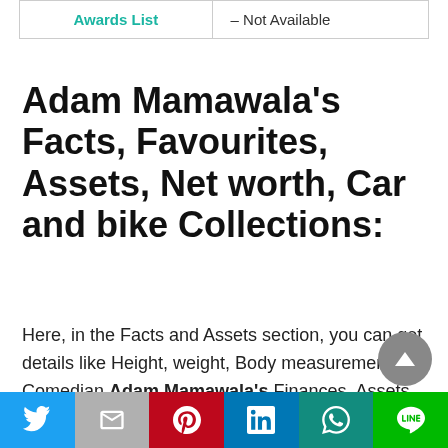| Awards List | – Not Available |
| --- | --- |
Adam Mamawala's Facts, Favourites, Assets, Net worth, Car and bike Collections:
Here, in the Facts and Assets section, you can get details like Height, weight, Body measurements of Comedian Adam Mamawala's Finances, Assets, Net worth, Cars, Investments, Salary, Other Earnings, Motorcycles and other interesting things about him.